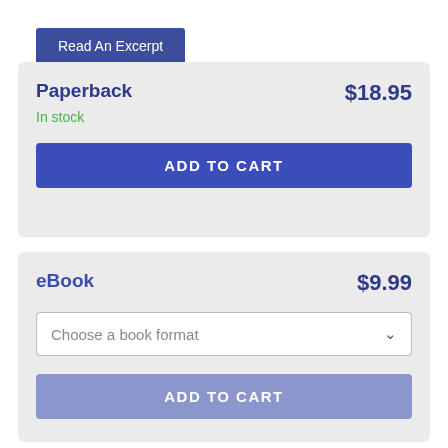Read An Excerpt
Paperback $18.95 In stock ADD TO CART
eBook $9.99 Choose a book format ADD TO CART